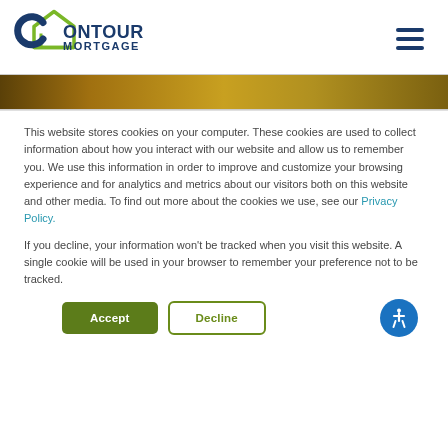[Figure (logo): Contour Mortgage logo with green house icon and dark blue text]
[Figure (photo): Partial hero image strip showing warm golden/brown tones]
This website stores cookies on your computer. These cookies are used to collect information about how you interact with our website and allow us to remember you. We use this information in order to improve and customize your browsing experience and for analytics and metrics about our visitors both on this website and other media. To find out more about the cookies we use, see our Privacy Policy.
If you decline, your information won't be tracked when you visit this website. A single cookie will be used in your browser to remember your preference not to be tracked.
[Figure (other): Accept and Decline cookie consent buttons, plus accessibility icon]